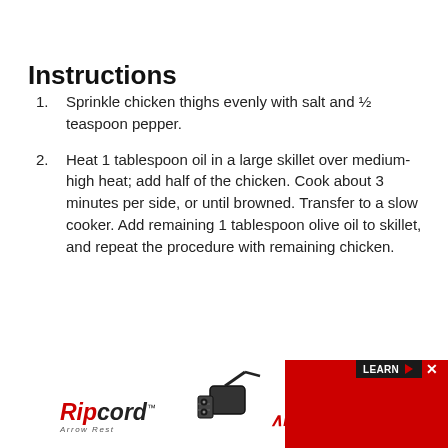Instructions
Sprinkle chicken thighs evenly with salt and ½ teaspoon pepper.
Heat 1 tablespoon oil in a large skillet over medium-high heat; add half of the chicken. Cook about 3 minutes per side, or until browned. Transfer to a slow cooker. Add remaining 1 tablespoon olive oil to skillet, and repeat the procedure with remaining chicken.
[Figure (advertisement): Ripcord Arrow Rest MAX advertisement banner with product image and LEARN button]